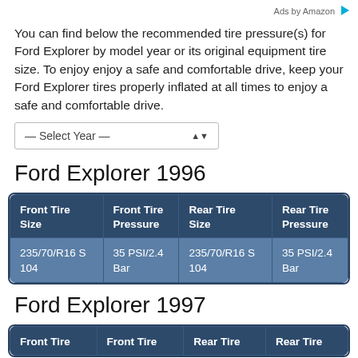Ads by Amazon
You can find below the recommended tire pressure(s) for Ford Explorer by model year or its original equipment tire size. To enjoy enjoy a safe and comfortable drive, keep your Ford Explorer tires properly inflated at all times to enjoy a safe and comfortable drive.
Ford Explorer 1996
| Front Tire Size | Front Tire Pressure | Rear Tire Size | Rear Tire Pressure |
| --- | --- | --- | --- |
| 235/70/R16 S 104 | 35 PSI/2.4 Bar | 235/70/R16 S 104 | 35 PSI/2.4 Bar |
Ford Explorer 1997
| Front Tire | Front Tire | Rear Tire | Rear Tire |
| --- | --- | --- | --- |